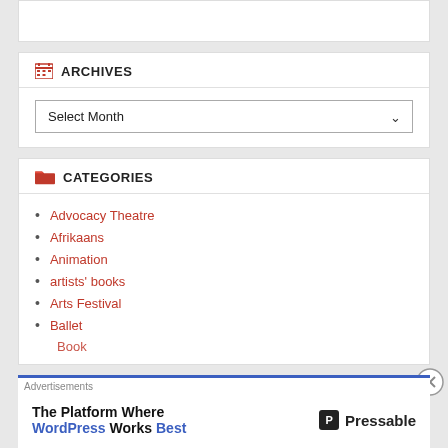ARCHIVES
Select Month
CATEGORIES
Advocacy Theatre
Afrikaans
Animation
artists' books
Arts Festival
Ballet
Advertisements
The Platform Where WordPress Works Best — Pressable